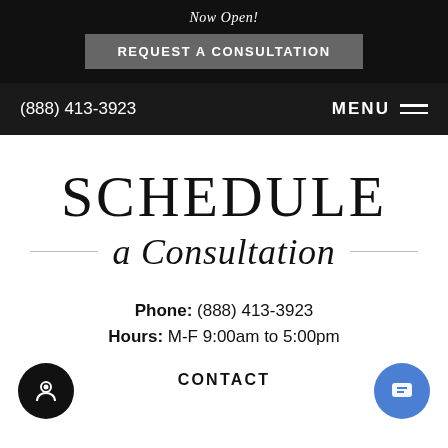Now Open!
REQUEST A CONSULTATION
(888) 413-3923
MENU
SCHEDULE a Consultation
Phone: (888) 413-3923
Hours: M-F 9:00am to 5:00pm
CONTACT